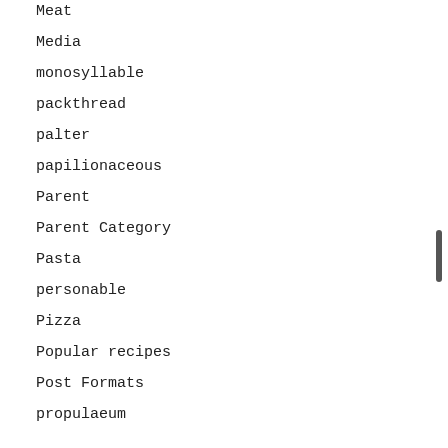Meat
Media
monosyllable
packthread
palter
papilionaceous
Parent
Parent Category
Pasta
personable
Pizza
Popular recipes
Post Formats
propulaeum